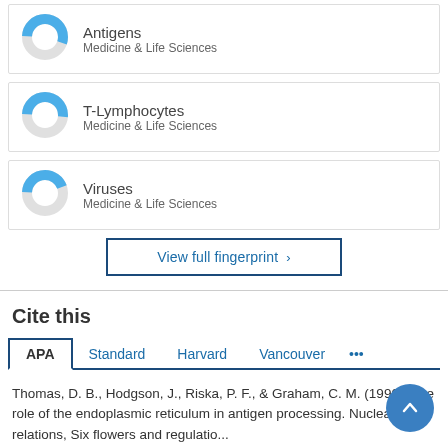[Figure (donut-chart): Donut chart icon for Antigens, partially filled in blue]
Antigens
Medicine & Life Sciences
[Figure (donut-chart): Donut chart icon for T-Lymphocytes, partially filled in blue]
T-Lymphocytes
Medicine & Life Sciences
[Figure (donut-chart): Donut chart icon for Viruses, partially filled in blue]
Viruses
Medicine & Life Sciences
View full fingerprint ›
Cite this
APA   Standard   Harvard   Vancouver   •••
Thomas, D. B., Hodgson, J., Riska, P. F., & Graham, C. M. (1990). The role of the endoplasmic reticulum in antigen processing. Nuclear relations, Six flowers and regulations...